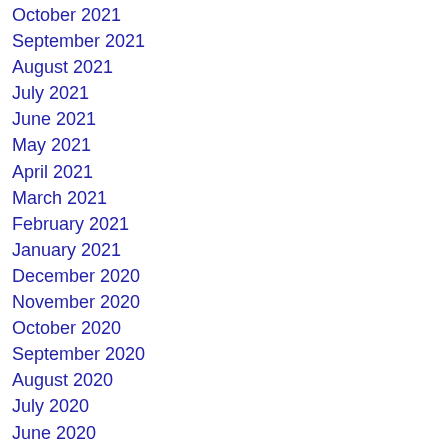October 2021
September 2021
August 2021
July 2021
June 2021
May 2021
April 2021
March 2021
February 2021
January 2021
December 2020
November 2020
October 2020
September 2020
August 2020
July 2020
June 2020
May 2020
April 2020
March 2020